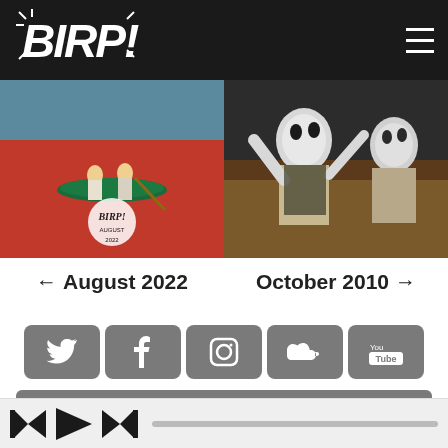BIRP!
[Figure (photo): Photo of people in a boat on a field of red flowers/poppies, with BIRP! August 2022 overlay logo]
[Figure (photo): Photo of performers with white face paint and dramatic costumes, October 2010]
← August 2022
October 2010 →
[Figure (infographic): Social media icon buttons: Twitter, Facebook, Instagram, SoundCloud, YouTube]
Send us your music
[Figure (photo): Partial bottom image strip showing dark/moody scene]
[Figure (infographic): Media player controls: skip back, play, skip forward with progress bar]